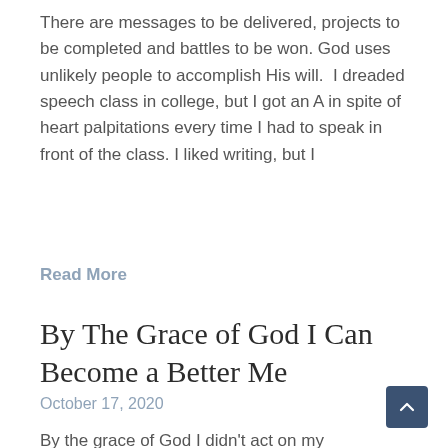There are messages to be delivered, projects to be completed and battles to be won. God uses unlikely people to accomplish His will. I dreaded speech class in college, but I got an A in spite of heart palpitations every time I had to speak in front of the class. I liked writing, but I
Read More
By The Grace of God I Can Become a Better Me
October 17, 2020
By the grace of God I didn't act on my